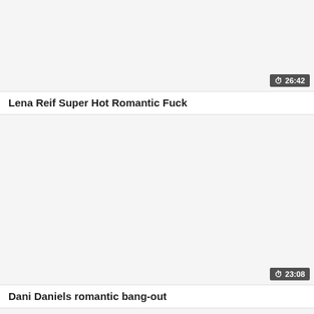[Figure (screenshot): Video thumbnail placeholder, light gray background]
26:42
Lena Reif Super Hot Romantic Fuck
[Figure (screenshot): Video thumbnail placeholder, light gray background]
23:08
Dani Daniels romantic bang-out
[Figure (screenshot): Partial video thumbnail placeholder, light gray background]